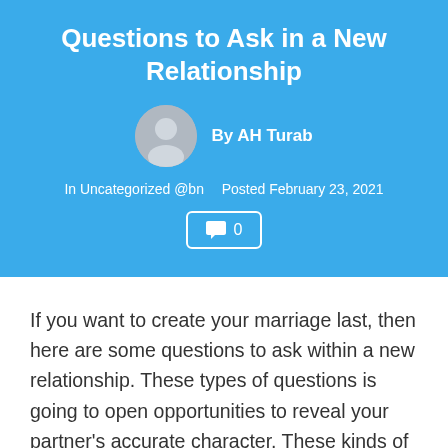Questions to Ask in a New Relationship
By AH Turab
In Uncategorized @bn   Posted February 23, 2021
💬 0
If you want to create your marriage last, then here are some questions to ask within a new relationship. These types of questions is going to open opportunities to reveal your partner's accurate character. These kinds of questions also serve as entrance to get to know the